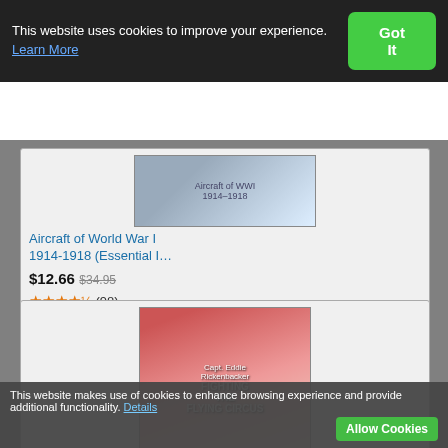This website uses cookies to improve your experience. Learn More
Got It
[Figure (photo): Book cover: Aircraft of World War I 1914-1918 (Essential I...)]
Aircraft of World War I 1914-1918 (Essential I…)
$12.66  $34.95
★★★★½ (98)
[Figure (photo): Book cover: Fighting the Flying Circus: The Greatest True Air A...]
Fighting the Flying Circus: The Greatest True Air A…
$17.49
★★★★★ (65)
briefly with 40 Squadron before rejoining 1918. After claiming 7 more victories and command of the training school at Norfo granted a short service commission as R left the Royal Air Force in 1926. He ente of Parliament for the Isle of Thanet in 19 Secretary of State for Air, a position he h of 1st Baron Balfour of Inchrye in 1945 a president of the British Society of World
"We were too busy fighting to worry abo
1  Robert L. Shaw, Fighter Combat: Tactics and... 266.
MI
Lt. (temp. Capt.) Harold Harington Balfo
For conspicuous gallantry and devotio valuable reconnaissances under yo
This website makes use of cookies to enhance browsing experience and provide additional functionality. Details
Allow Cookies